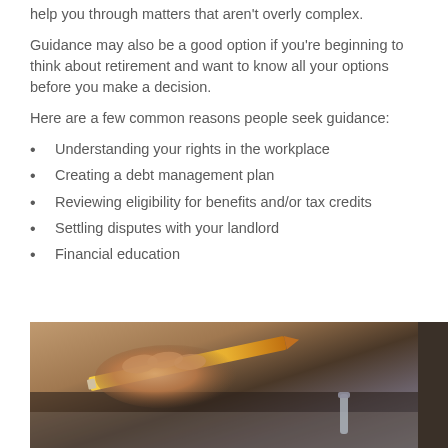help you through matters that aren't overly complex.
Guidance may also be a good option if you're beginning to think about retirement and want to know all your options before you make a decision.
Here are a few common reasons people seek guidance:
Understanding your rights in the workplace
Creating a debt management plan
Reviewing eligibility for benefits and/or tax credits
Settling disputes with your landlord
Financial education
[Figure (photo): Close-up photo of a hand holding a yellow pencil, writing on paper, with a dark background.]